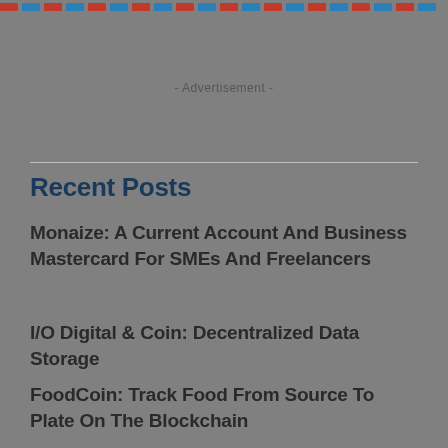[Figure (other): Dashed border stripe with alternating red and blue dashes at the top of the page]
- Advertisement -
Recent Posts
Monaize: A Current Account And Business Mastercard For SMEs And Freelancers
I/O Digital & Coin: Decentralized Data Storage
FoodCoin: Track Food From Source To Plate On The Blockchain